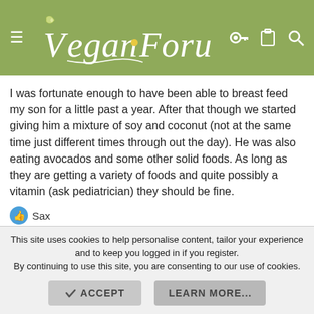Vegan Forum
I was fortunate enough to have been able to breast feed my son for a little past a year. After that though we started giving him a mixture of soy and coconut (not at the same time just different times through out the day). He was also eating avocados and some other solid foods. As long as they are getting a variety of foods and quite possibly a vitamin (ask pediatrician) they should be fine.
Sax
↩ Reply
steven robertson
Newcomer
This site uses cookies to help personalise content, tailor your experience and to keep you logged in if you register. By continuing to use this site, you are consenting to our use of cookies.
ACCEPT
LEARN MORE...